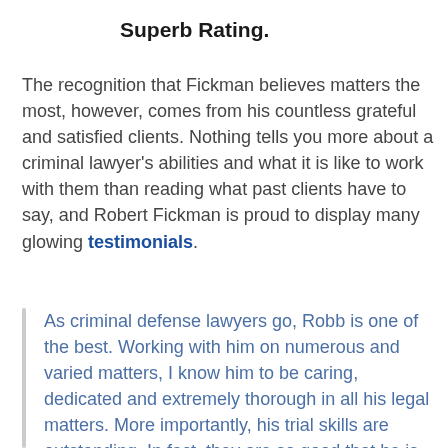Superb Rating.
The recognition that Fickman believes matters the most, however, comes from his countless grateful and satisfied clients. Nothing tells you more about a criminal lawyer's abilities and what it is like to work with them than reading what past clients have to say, and Robert Fickman is proud to display many glowing testimonials.
As criminal defense lawyers go, Robb is one of the best. Working with him on numerous and varied matters, I know him to be caring, dedicated and extremely thorough in all his legal matters. More importantly, his trial skills are outstanding. In fact, they are so good that he is often called upon bu